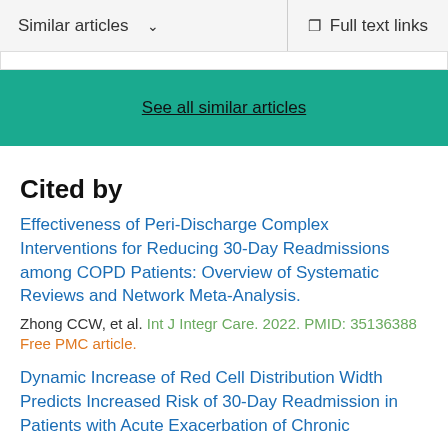Similar articles  ∨  Full text links
See all similar articles
Cited by
Effectiveness of Peri-Discharge Complex Interventions for Reducing 30-Day Readmissions among COPD Patients: Overview of Systematic Reviews and Network Meta-Analysis.
Zhong CCW, et al. Int J Integr Care. 2022. PMID: 35136388
Free PMC article.
Dynamic Increase of Red Cell Distribution Width Predicts Increased Risk of 30-Day Readmission in Patients with Acute Exacerbation of Chronic